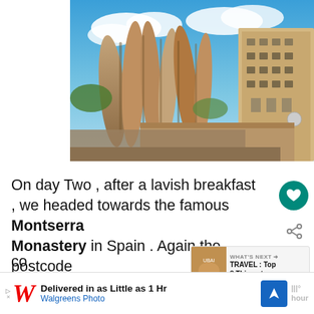[Figure (photo): Montserrat Monastery with dramatic jagged rock formations under blue sky, monastery buildings visible on the right side]
On day Two , after a lavish breakfast , we headed towards the famous Montserra Monastery in Spain . Again the postcode given on the website takes you to the tram station . We had to go to the co... p...
[Figure (infographic): WHAT'S NEXT box: TRAVEL : Top 8 Things to ...]
[Figure (infographic): Advertisement: Delivered in as Little as 1 Hr - Walgreens Photo]